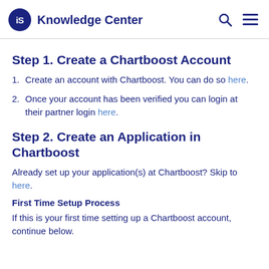iS Knowledge Center
Step 1. Create a Chartboost Account
1. Create an account with Chartboost. You can do so here.
2. Once your account has been verified you can login at their partner login here.
Step 2. Create an Application in Chartboost
Already set up your application(s) at Chartboost? Skip to here.
First Time Setup Process
If this is your first time setting up a Chartboost account, continue below.